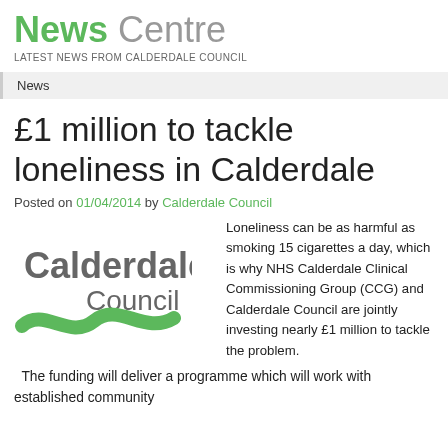News Centre
LATEST NEWS FROM CALDERDALE COUNCIL
News
£1 million to tackle loneliness in Calderdale
Posted on 01/04/2014 by Calderdale Council
[Figure (logo): Calderdale Council logo with grey text and green wave]
Loneliness can be as harmful as smoking 15 cigarettes a day, which is why NHS Calderdale Clinical Commissioning Group (CCG) and Calderdale Council are jointly investing nearly £1 million to tackle the problem.
The funding will deliver a programme which will work with established community